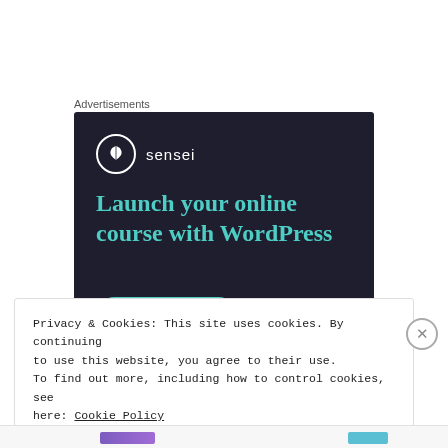Advertisements
[Figure (screenshot): Sensei advertisement banner on dark navy background. Logo with tree icon and 'sensei' text. Headline: 'Launch your online course with WordPress'. Teal 'Learn More' button.]
Privacy & Cookies: This site uses cookies. By continuing to use this website, you agree to their use.
To find out more, including how to control cookies, see here: Cookie Policy
Close and accept